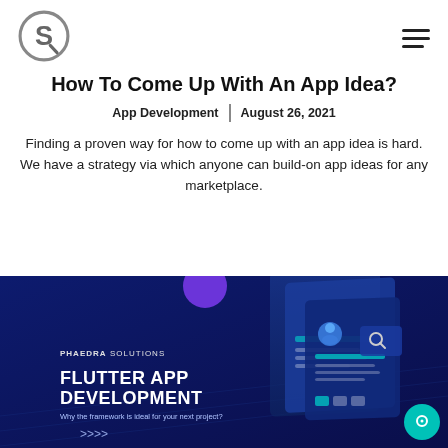How To Come Up With An App Idea?
App Development | August 26, 2021
Finding a proven way for how to come up with an app idea is hard. We have a strategy via which anyone can build-on app ideas for any marketplace.
[Figure (illustration): Dark blue banner image with text PHAEDRASOLUTIONS, FLUTTER APP DEVELOPMENT, Why the framework is ideal for your next project?, with arrow icons and floating UI/app panel illustrations on a dark navy background with purple circle accent.]